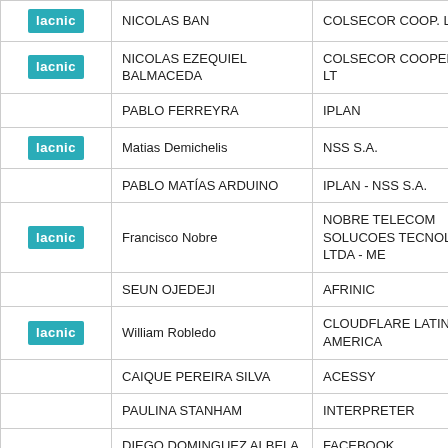|  | Name | Organization |
| --- | --- | --- |
| lacnic | NICOLAS BAN | COLSECOR COOP. LTDA. |
| lacnic | NICOLAS EZEQUIEL BALMACEDA | COLSECOR COOPERATIVA LT... |
|  | PABLO FERREYRA | IPLAN |
| lacnic | Matias Demichelis | NSS S.A. |
|  | PABLO MATÍAS ARDUINO | IPLAN - NSS S.A. |
| lacnic | Francisco Nobre | NOBRE TELECOM SOLUCOES TECNOLOGIA LTDA - ME |
|  | SEUN OJEDEJI | AFRINIC |
| lacnic | William Robledo | CLOUDFLARE LATIN AMERICA... |
|  | CAIQUE PEREIRA SILVA | ACESSY |
|  | PAULINA STANHAM | INTERPRETER |
|  | DIEGO DOMINGUEZ ALBELA | FACEBOOK |
| lacnic | TIAGO GABRIEL COVATTI DA ROSA | VOA TELECOMUNICAÇÕES E... |